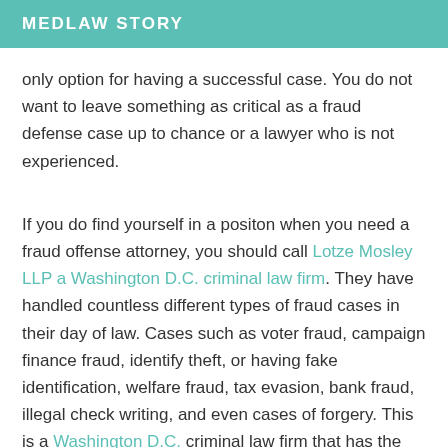MEDLAW STORY
only option for having a successful case. You do not want to leave something as critical as a fraud defense case up to chance or a lawyer who is not experienced.
If you do find yourself in a positon when you need a fraud offense attorney, you should call Lotze Mosley LLP a Washington D.C. criminal law firm. They have handled countless different types of fraud cases in their day of law. Cases such as voter fraud, campaign finance fraud, identify theft, or having fake identification, welfare fraud, tax evasion, bank fraud, illegal check writing, and even cases of forgery. This is a Washington D.C. criminal law firm that has the experience that you need in order to get